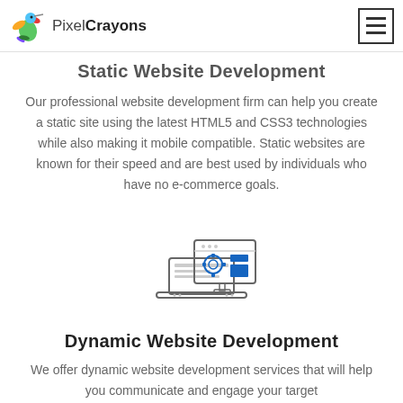PixelCrayons
Static Website Development
Our professional website development firm can help you create a static site using the latest HTML5 and CSS3 technologies while also making it mobile compatible. Static websites are known for their speed and are best used by individuals who have no e-commerce goals.
[Figure (illustration): Icon of a desktop/laptop computer with dynamic website elements including a gear, browser window with colored blocks, representing web development]
Dynamic Website Development
We offer dynamic website development services that will help you communicate and engage your target